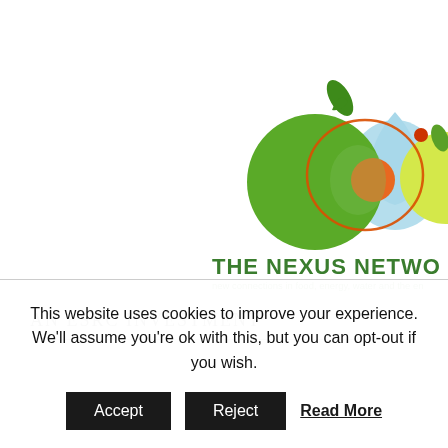[Figure (logo): The Nexus Network logo — overlapping circles representing food (green apple), energy (orange atom), water (blue droplet), and environment (yellow-green), with circular orbit element in red-orange. Text: THE NEXUS NETWORK, new connections in food, energy, water and the environment]
AN ESRC INVESTMENT
This website uses cookies to improve your experience. We'll assume you're ok with this, but you can opt-out if you wish.
Accept  Reject  Read More